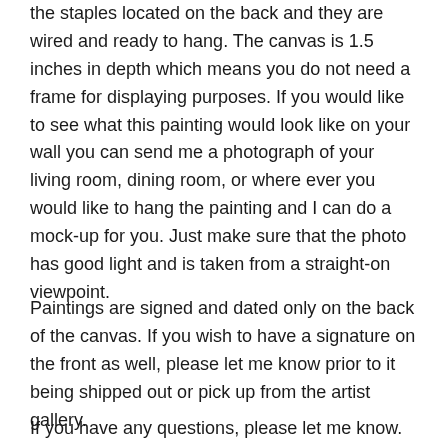the staples located on the back and they are wired and ready to hang. The canvas is 1.5 inches in depth which means you do not need a frame for displaying purposes. If you would like to see what this painting would look like on your wall you can send me a photograph of your living room, dining room, or where ever you would like to hang the painting and I can do a mock-up for you. Just make sure that the photo has good light and is taken from a straight-on viewpoint.
Paintings are signed and dated only on the back of the canvas. If you wish to have a signature on the front as well, please let me know prior to it being shipped out or pick up from the artist gallery.
If you have any questions, please let me know. I'm